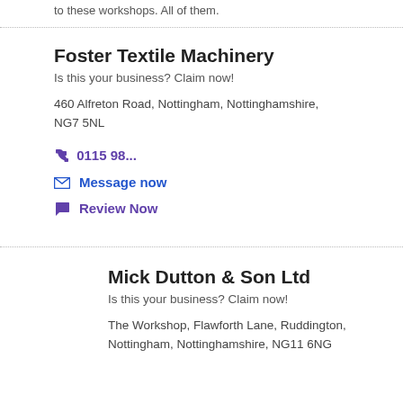to these workshops. All of them.
Foster Textile Machinery
Is this your business? Claim now!
460 Alfreton Road, Nottingham, Nottinghamshire, NG7 5NL
0115 98...
Message now
Review Now
Mick Dutton & Son Ltd
Is this your business? Claim now!
The Workshop, Flawforth Lane, Ruddington, Nottingham, Nottinghamshire, NG11 6NG